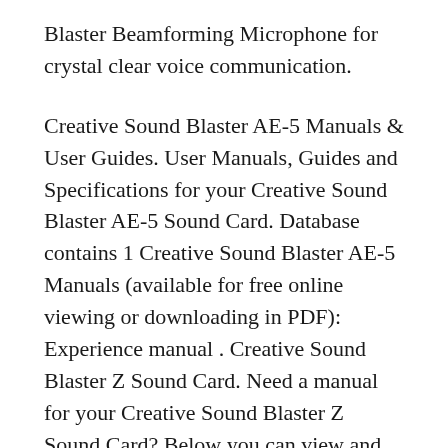Blaster Beamforming Microphone for crystal clear voice communication.
Creative Sound Blaster AE-5 Manuals & User Guides. User Manuals, Guides and Specifications for your Creative Sound Blaster AE-5 Sound Card. Database contains 1 Creative Sound Blaster AE-5 Manuals (available for free online viewing or downloading in PDF): Experience manual . Creative Sound Blaster Z Sound Card. Need a manual for your Creative Sound Blaster Z Sound Card? Below you can view and download the PDF manual for free. There are also frequently asked questions, a product rating and feedback from users to enable you to optimally use your product. If this is not the manual you want, please contact us.